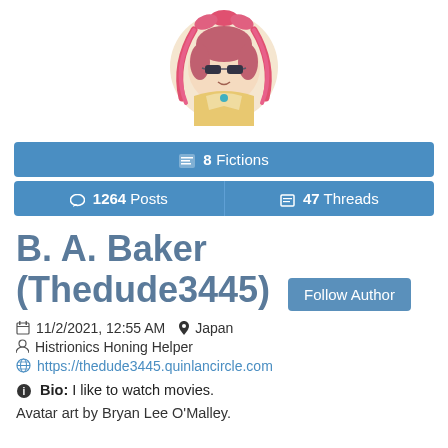[Figure (illustration): Anime-style chibi avatar with pink hair, sunglasses, and a bow, inside a circular frame with ribbons]
8 Fictions
1264 Posts | 47 Threads
B. A. Baker (Thedude3445)
Follow Author
11/2/2021, 12:55 AM  Japan
Histrionics Honing Helper
https://thedude3445.quinlancircle.com
Bio: I like to watch movies.
Avatar art by Bryan Lee O'Malley.